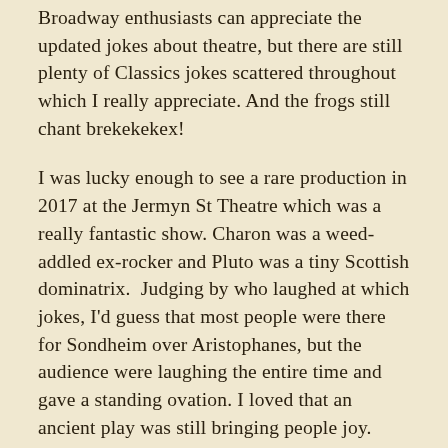Broadway enthusiasts can appreciate the updated jokes about theatre, but there are still plenty of Classics jokes scattered throughout which I really appreciate. And the frogs still chant brekekekex!
I was lucky enough to see a rare production in 2017 at the Jermyn St Theatre which was a really fantastic show. Charon was a weed-addled ex-rocker and Pluto was a tiny Scottish dominatrix. Judging by who laughed at which jokes, I'd guess that most people were there for Sondheim over Aristophanes, but the audience were laughing the entire time and gave a standing ovation. I loved that an ancient play was still bringing people joy.
I've only read Aristophanes in translation, so any clever wordplay in the original Greek is lost on me; thankfully Sondheim is a modern master of English and his lyrics are